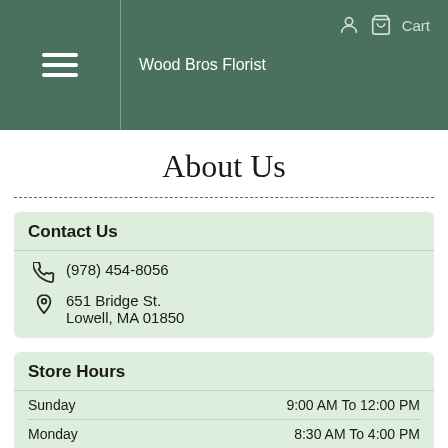Wood Bros Florist
About Us
Contact Us
(978) 454-8056
651 Bridge St.
Lowell, MA 01850
Store Hours
| Day | Hours |
| --- | --- |
| Sunday | 9:00 AM To 12:00 PM |
| Monday | 8:30 AM To 4:00 PM |
| Tuesday | 8:30 AM To 3:00 PM |
| Wednesday | 8:30 AM To 3:00 PM |
| Thursday | 8:30 AM To 4:00 PM |